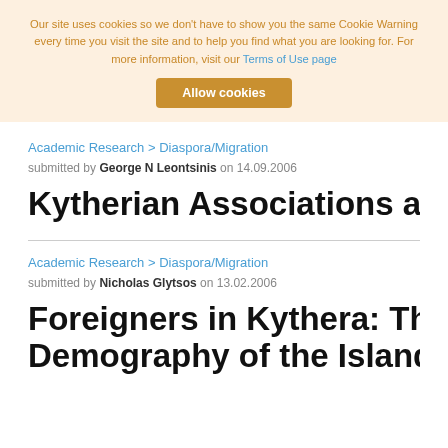Our site uses cookies so we don't have to show you the same Cookie Warning every time you visit the site and to help you find what you are looking for. For more information, visit our Terms of Use page
Allow cookies
Academic Research > Diaspora/Migration
submitted by George N Leontsinis on 14.09.2006
Kytherian Associations an
Academic Research > Diaspora/Migration
submitted by Nicholas Glytsos on 13.02.2006
Foreigners in Kythera: The Demography of the Island